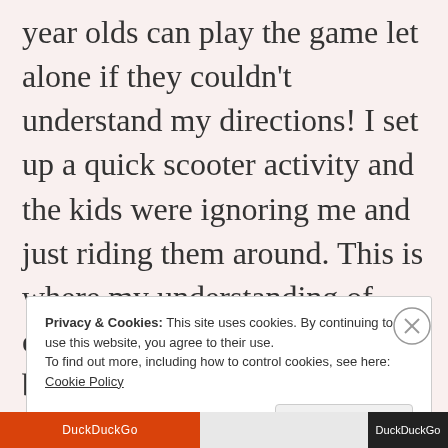year olds can play the game let alone if they couldn't understand my directions! I set up a quick scooter activity and the kids were ignoring me and just riding them around. This is where my understanding of children and fun kicked in. I brought out jump ropes and starting pulling the kids around the
Privacy & Cookies: This site uses cookies. By continuing to use this website, you agree to their use.
To find out more, including how to control cookies, see here: Cookie Policy
Close and accept